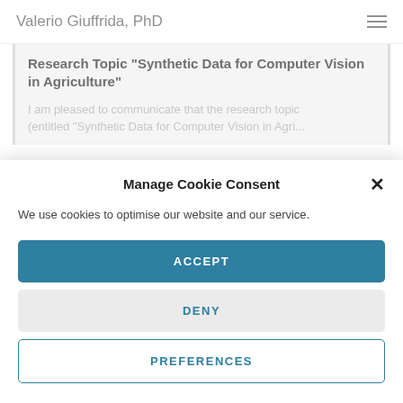Valerio Giuffrida, PhD
Research Topic “Synthetic Data for Computer Vision in Agriculture”
I am pleased to communicate that the research topic (entitled “Synthetic Data for Computer Vision in Agri...
Manage Cookie Consent
We use cookies to optimise our website and our service.
ACCEPT
DENY
PREFERENCES